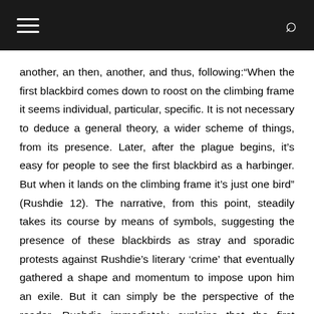another, an then, another, and thus, following:“When the first blackbird comes down to roost on the climbing frame it seems individual, particular, specific. It is not necessary to deduce a general theory, a wider scheme of things, from its presence. Later, after the plague begins, it’s easy for people to see the first blackbird as a harbinger. But when it lands on the climbing frame it’s just one bird” (Rushdie 12). The narrative, from this point, steadily takes its course by means of symbols, suggesting the presence of these blackbirds as stray and sporadic protests against Rushdie’s literary ‘crime’ that eventually gathered a shape and momentum to impose upon him an exile. But it can simply be the perspective of the reader. Rushdie immediately explains that the first blackbird which may later be pointed as a “harbinger” (Rushdie 12) of the plague is basically his work, Satanic